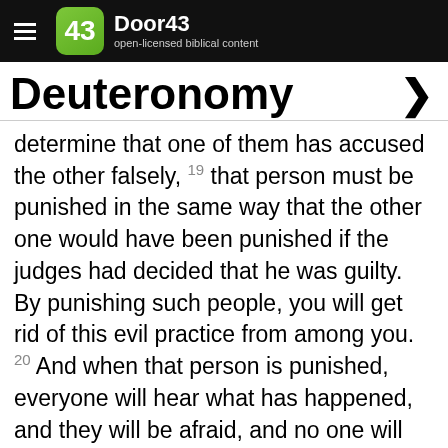Door43 — open-licensed biblical content
Deuteronomy
determine that one of them has accused the other falsely, 19 that person must be punished in the same way that the other one would have been punished if the judges had decided that he was guilty. By punishing such people, you will get rid of this evil practice from among you. 20 And when that person is punished, everyone will hear what has happened, and they will be afraid, and no one will dare to act that way anymore. 21 You must not pity people who are punished like that. The rule should